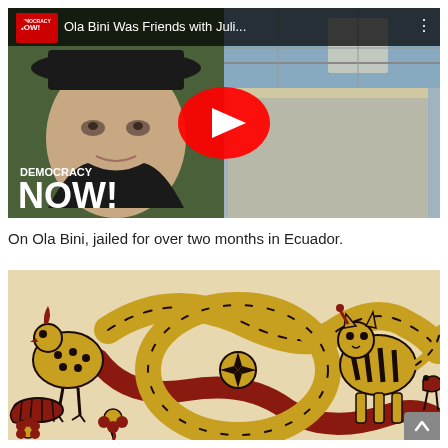[Figure (screenshot): YouTube video thumbnail showing Democracy Now! video titled 'Ola Bini Was Friends with Juli...' — left half shows a young man's face, right half shows a building with fence/barbed wire. Democracy Now! logo and text overlay visible. Red YouTube play button in center.]
On Ola Bini, jailed for over two months in Ecuador.
[Figure (illustration): Folk art illustration with colorful animals — snake, bird, lizard, cat-like creature, and flowers in yellow, dark red/maroon, and cream/beige colors on a light background. Traditional indigenous style artwork.]